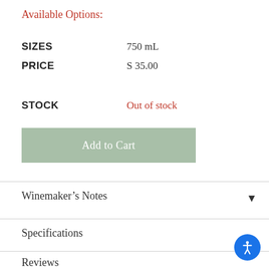Available Options:
|  |  |
| --- | --- |
| SIZES | 750 mL |
| PRICE | $ 35.00 |
| STOCK | Out of stock |
Add to Cart
Winemaker’s Notes
Specifications
Reviews